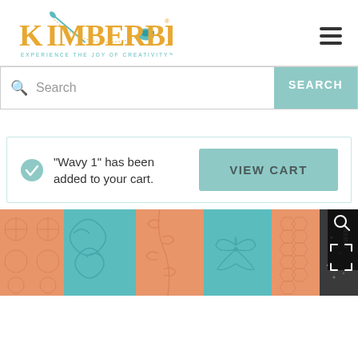[Figure (logo): KimberBell logo with needle and thread spool, orange and teal colors, with tagline EXPERIENCE THE JOY OF CREATIVITY]
Search
"Wavy 1" has been added to your cart.
VIEW CART
[Figure (photo): Product image strip showing quilt fabric patterns in peach/salmon and teal colors with various embroidery designs including swirls, leaves, butterflies, and honeycomb patterns, plus a dark panel with text overlay and magnify/expand icons]